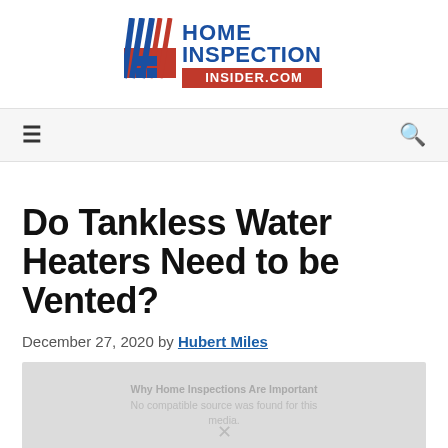[Figure (logo): Home Inspection Insider.com logo with red and blue diagonal stripe graphic on the left and bold text on the right]
Navigation bar with hamburger menu icon and search icon
Do Tankless Water Heaters Need to be Vented?
December 27, 2020 by Hubert Miles
[Figure (other): Partially loaded image with text overlay: Why Home Inspections Are Important. No compatible source was found for this media.]